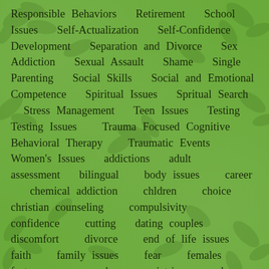Responsible Behaviors  Retirement  School Issues  Self-Actualization  Self-Confidence Development  Separation and Divorce  Sex Addiction  Sexual Assault  Shame  Single Parenting  Social Skills  Social and Emotional Competence  Spiritual Issues  Spritual Search  Stress Management  Teen Issues  Testing  Testing Issues  Trauma Focused Cognitive Behavioral Therapy  Traumatic Events  Women's Issues  addictions  adult  assessment  bilingual  body issues  career  chemical addiction  chldren  choice  christian counseling  compulsivity  confidence  cutting  dating couples  discomfort  divorce  end of life issues  faith  family issues  fear  females  foster care  gender  geriatric  goal setting  grief  grow  healthy marriage  help seeking  holidays  hope  hypnotherapy  intimacy